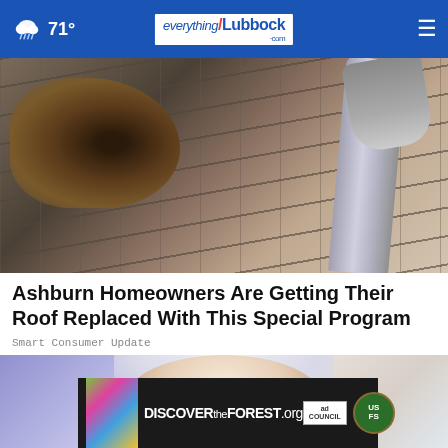71° | everythingLubbock.com
[Figure (photo): Damaged roof shingles with debris and a pipe/boot visible, close-up view from above]
Ashburn Homeowners Are Getting Their Roof Replaced With This Special Program
Smart Consumer Update
[Figure (photo): Person looking upward, close crop of face, with a Discover the Forest ad banner overlay and a close (x) button]
[Figure (other): Discover the Forest .org advertisement banner with ad council and US Forest Service logos]